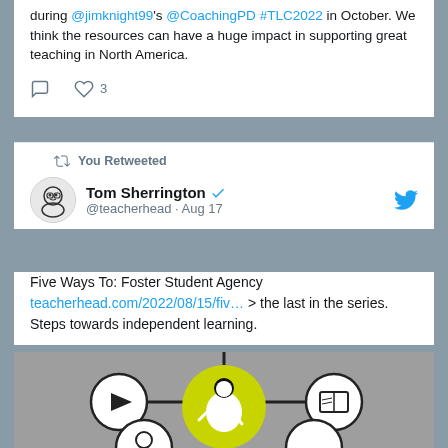during @jimknight99's @CoachingPD #TLC2022 in October. We think the resources can have a huge impact in supporting great teaching in North America.
[Figure (other): Tweet action buttons: comment icon and heart icon with count 3]
You Retweeted
Tom Sherrington @teacherhead · Aug 17
Five Ways To: Foster Student Agency teacherhead.com/2022/08/15/fiv… > the last in the series. Steps towards independent learning.
[Figure (illustration): Infographic showing a student figure in a yellow circle connected to surrounding circles with icons: play button, book, and other learning icons]